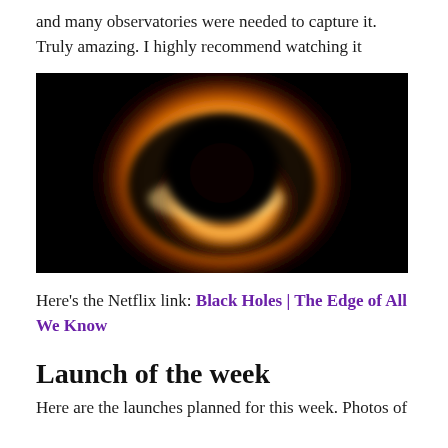and many observatories were needed to capture it. Truly amazing. I highly recommend watching it
[Figure (photo): First-ever image of a black hole — a glowing orange ring of light surrounding a dark shadow center, against a black background. This is the famous Event Horizon Telescope image of the black hole in M87.]
Here's the Netflix link: Black Holes | The Edge of All We Know
Launch of the week
Here are the launches planned for this week. Photos of